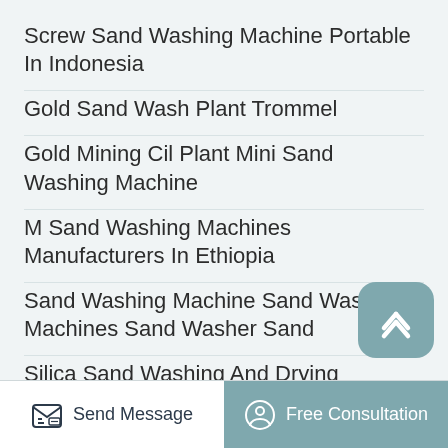Screw Sand Washing Machine Portable In Indonesia
Gold Sand Wash Plant Trommel
Gold Mining Cil Plant Mini Sand Washing Machine
M Sand Washing Machines Manufacturers In Ethiopia
Sand Washing Machine Sand Washing Machines Sand Washer Sand
Silica Sand Washing And Drying Equipment
Send Message | Free Consultation